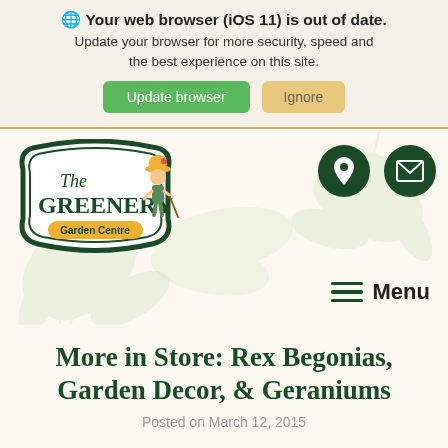🌐 Your web browser (iOS 11) is out of date. Update your browser for more security, speed and the best experience on this site. Update browser | Ignore
[Figure (logo): The Greenery Garden Centre logo — oval badge with gardener character, dark green border]
[Figure (other): Dark green circle icons: location pin and envelope (mail), plus hamburger menu icon with 'Menu' label]
More in Store: Rex Begonias, Garden Decor, & Geraniums
Posted on March 12, 2015